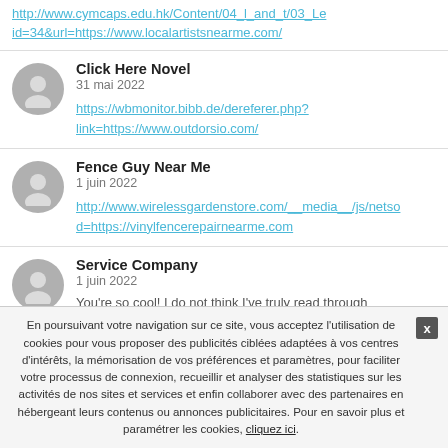http://www.cymcaps.edu.hk/Content/04_l_and_t/03_Le... id=34&url=https://www.localartistsnearme.com/
Click Here Novel
31 mai 2022
https://wbmonitor.bibb.de/dereferer.php?link=https://www.outdorsio.com/
Fence Guy Near Me
1 juin 2022
http://www.wirelessgardenstore.com/__media__/js/netso...d=https://vinylfencerepairnearme.com
Service Company
1 juin 2022
You're so cool! I do not think I've truly read through...
En poursuivant votre navigation sur ce site, vous acceptez l'utilisation de cookies pour vous proposer des publicités ciblées adaptées à vos centres d'intérêts, la mémorisation de vos préférences et paramètres, pour faciliter votre processus de connexion, recueillir et analyser des statistiques sur les activités de nos sites et services et enfin collaborer avec des partenaires en hébergeant leurs contenus ou annonces publicitaires. Pour en savoir plus et paramétrer les cookies, cliquez ici.